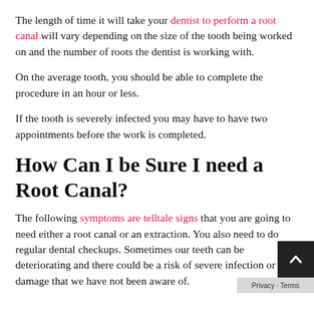The length of time it will take your dentist to perform a root canal will vary depending on the size of the tooth being worked on and the number of roots the dentist is working with.
On the average tooth, you should be able to complete the procedure in an hour or less.
If the tooth is severely infected you may have to have two appointments before the work is completed.
How Can I be Sure I need a Root Canal?
The following symptoms are telltale signs that you are going to need either a root canal or an extraction. You also need to do regular dental checkups. Sometimes our teeth can be deteriorating and there could be a risk of severe infection or damage that we have not been aware of.